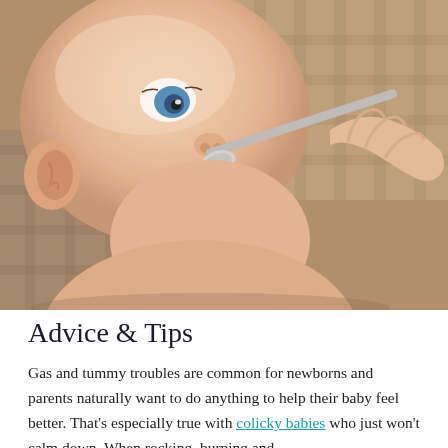[Figure (photo): Close-up photo of a baby with blue eyes being fed with a spoon by an adult hand. The baby is lying on a patterned surface and looking upward toward the spoon.]
Advice & Tips
Gas and tummy troubles are common for newborns and parents naturally want to do anything to help their baby feel better. That's especially true with colicky babies who just won't calm down. When rocking, burping and